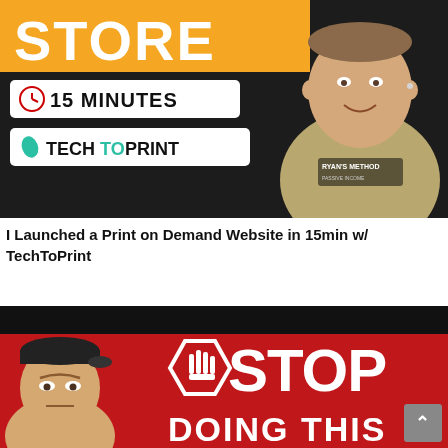[Figure (screenshot): YouTube thumbnail: dark background with orange banner showing 'STORE', white badge with clock icon and '15 MINUTES', white badge with leaf icon and 'TECHTOPRINT', smiling man on right side wearing a shirt with 'RYAN'S METHOD PASSIVE INCOME' text]
I Launched a Print on Demand Website in 15min w/ TechToPrint
[Figure (screenshot): YouTube thumbnail: black top bar, red background on right with large white 'STOP' text and stop hand sign hexagon, 'DOING THIS' text below, man with backwards cap on left looking serious]